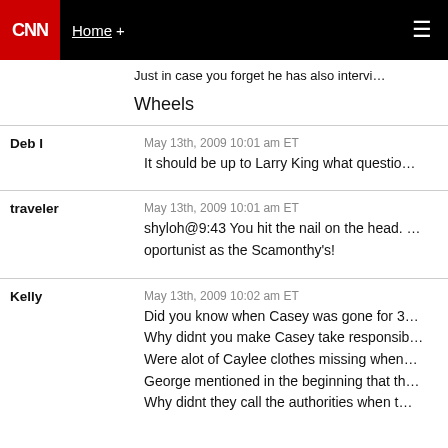CNN Home +
Just in case you forget he has also intervi…
Wheels
Deb I
May 13th, 2009 10:01 am ET
It should be up to Larry King what questio…
traveler
May 13th, 2009 10:01 am ET
shyloh@9:43 You hit the nail on the head. … oportunist as the Scamonthy's!
Kelly
May 13th, 2009 10:02 am ET
Did you know when Casey was gone for 3… Why didnt you make Casey take responsib… Were alot of Caylee clothes missing when… George mentioned in the beginning that th… Why didnt they call the authorities when t…